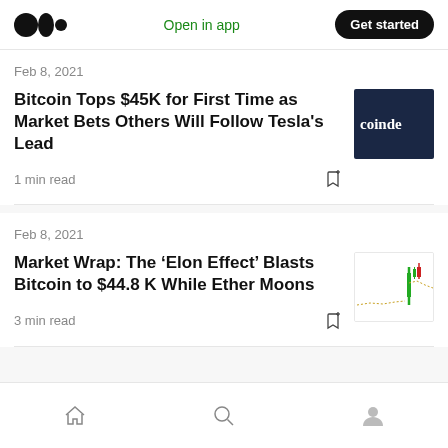Medium — Open in app | Get started
Feb 8, 2021
Bitcoin Tops $45K for First Time as Market Bets Others Will Follow Tesla's Lead
1 min read
[Figure (logo): CoinDesk logo on dark navy background with text 'coinde']
Feb 8, 2021
Market Wrap: The ‘Elon Effect’ Blasts Bitcoin to $44.8 K While Ether Moons
3 min read
[Figure (other): Small candlestick/line chart thumbnail showing green and red price movement spiking upward]
Home | Search | Profile